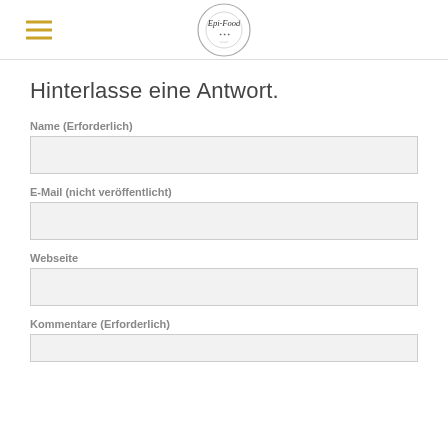Epi-Food
Hinterlasse eine Antwort.
Name (Erforderlich)
E-Mail (nicht veröffentlicht)
Webseite
Kommentare (Erforderlich)